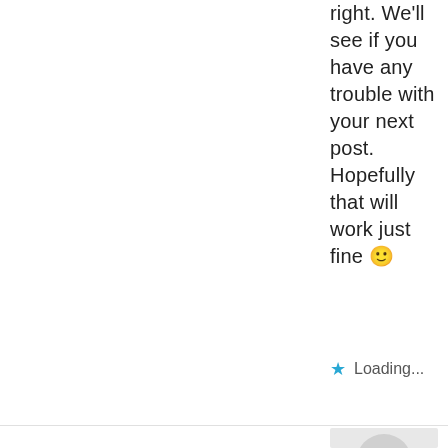right. We'll see if you have any trouble with your next post. Hopefully that will work just fine 🙂
★ Loading...